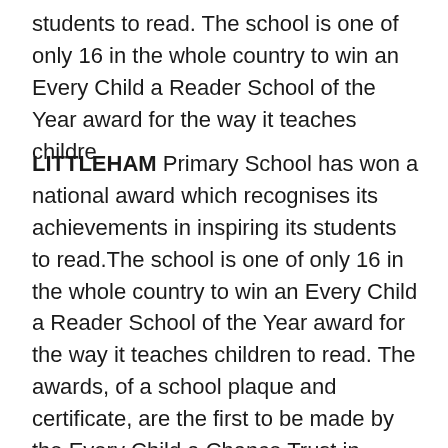students to read. The school is one of only 16 in the whole country to win an Every Child a Reader School of the Year award for the way it teaches childre
LITTLEHAM Primary School has won a national award which recognises its achievements in inspiring its students to read.The school is one of only 16 in the whole country to win an Every Child a Reader School of the Year award for the way it teaches children to read. The awards, of a school plaque and certificate, are the first to be made by the Every Child a Chance Trust in London, which was set up in 2007 and is backed by the Government and leading businesses and charities.The school, which has 111 pupils aged between three and 11 years old, was singled out for the way its Reading Recovery programme includes other schools in Exmouth in educating teaching assistants to be part of the programme.The programme, led by Reading Recovery teacher Sue Tho...